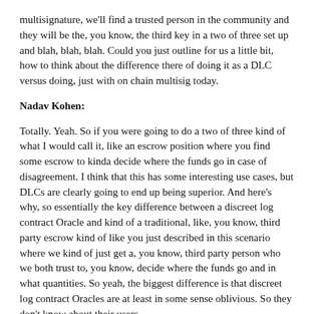multisignature, we'll find a trusted person in the community and they will be the, you know, the third key in a two of three set up and blah, blah, blah. Could you just outline for us a little bit, how to think about the difference there of doing it as a DLC versus doing, just with on chain multisig today.
Nadav Kohen:
Totally. Yeah. So if you were going to do a two of three kind of what I would call it, like an escrow position where you find some escrow to kinda decide where the funds go in case of disagreement. I think that this has some interesting use cases, but DLCs are clearly going to end up being superior. And here's why, so essentially the key difference between a discreet log contract Oracle and kind of a traditional, like, you know, third party escrow kind of like you just described in this scenario where we kind of just get a, you know, third party person who we both trust to, you know, decide where the funds go and in what quantities. So yeah, the biggest difference is that discreet log contract Oracles are at least in some sense oblivious. So they don't know about their users.